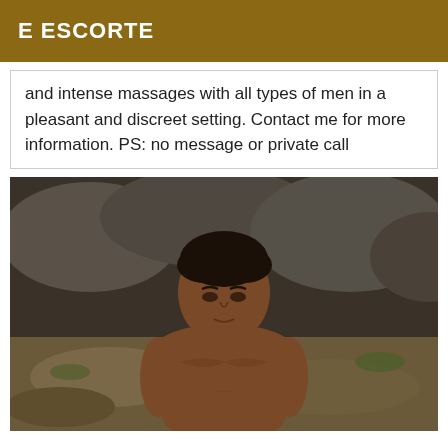E ESCORTE
and intense massages with all types of men in a pleasant and discreet setting. Contact me for more information. PS: no message or private call
[Figure (photo): A shirtless young man sitting outdoors against a rocky background, looking downward.]